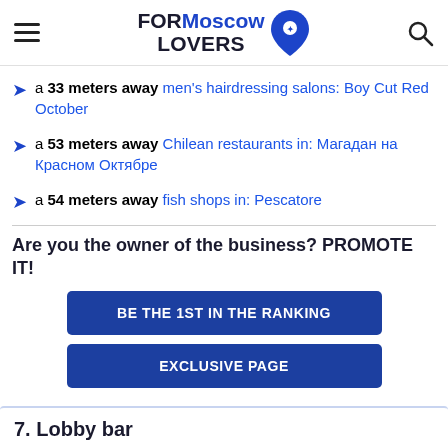FORMoscow LOVERS
a 33 meters away men's hairdressing salons: Boy Cut Red October
a 53 meters away Chilean restaurants in: Магадан на Красном Октябре
a 54 meters away fish shops in: Pescatore
Are you the owner of the business? PROMOTE IT!
BE THE 1ST IN THE RANKING
EXCLUSIVE PAGE
7. Lobby bar